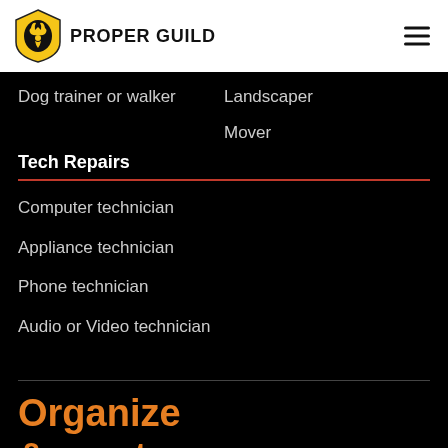PROPER GUILD
Dog trainer or walker
Landscaper
Mover
Tech Repairs
Computer technician
Appliance technician
Phone technician
Audio or Video technician
Organize & create
Creative and Events
Professional Services